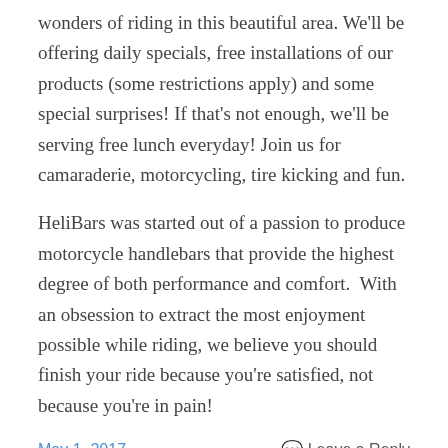wonders of riding in this beautiful area. We'll be offering daily specials, free installations of our products (some restrictions apply) and some special surprises! If that's not enough, we'll be serving free lunch everyday! Join us for camaraderie, motorcycling, tire kicking and fun.
HeliBars was started out of a passion to produce motorcycle handlebars that provide the highest degree of both performance and comfort.  With an obsession to extract the most enjoyment possible while riding, we believe you should finish your ride because you're satisfied, not because you're in pain!
May 1, 2017
Leave a Reply
HeliBar installations at Wing